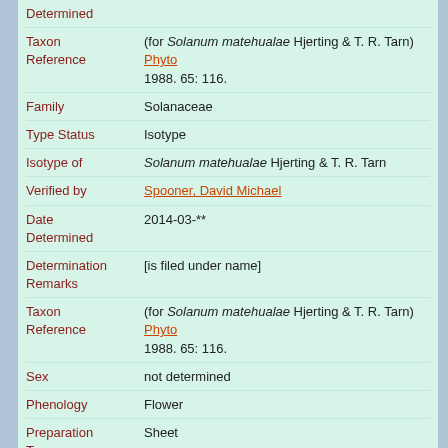| Field | Value |
| --- | --- |
| Determined |  |
| Taxon Reference | (for Solanum matehualae Hjerting & T. R. Tarn) Phyto 1988. 65: 116. |
| Family | Solanaceae |
| Type Status | Isotype |
| Isotype of | Solanum matehualae Hjerting & T. R. Tarn |
| Verified by | Spooner, David Michael |
| Date Determined | 2014-03-** |
| Determination Remarks | [is filed under name] |
| Taxon Reference | (for Solanum matehualae Hjerting & T. R. Tarn) Phyto 1988. 65: 116. |
| Sex | not determined |
| Phenology | Flower |
| Preparation Type | Sheet |
| Preparation Method | Pressed |
| Remarks | Specimens grown at Sturgeon Bay, Wis. |